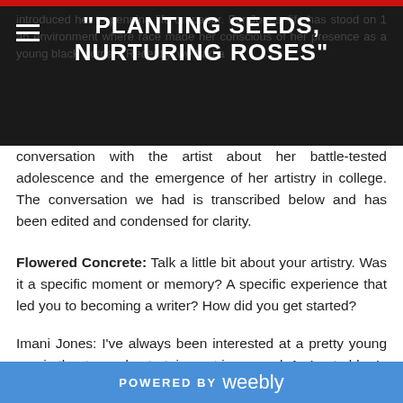"PLANTING SEEDS, NURTURING ROSES"
introduced her to penning life on paper. For Jones, life has stood on 1 an environment where race made her conscious of her presence as a young black woman. Recently, we had a conversation with the artist about her battle-tested adolescence and the emergence of her artistry in college. The conversation we had is transcribed below and has been edited and condensed for clarity.
Flowered Concrete: Talk a little bit about your artistry. Was it a specific moment or memory? A specific experience that led you to becoming a writer? How did you get started?
Imani Jones: I've always been interested at a pretty young age in theater and entertainment in general. As I got older I
POWERED BY weebly